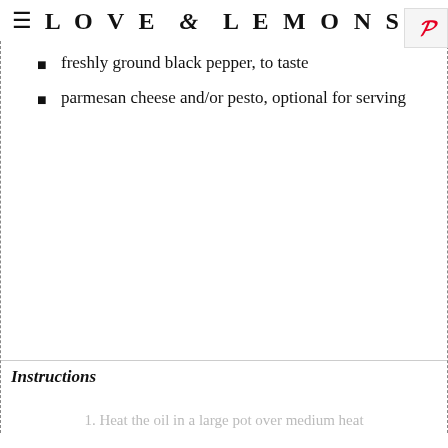LOVE & LEMONS
freshly ground black pepper, to taste
parmesan cheese and/or pesto, optional for serving
Instructions
1. Heat the oil in a large pot over medium heat